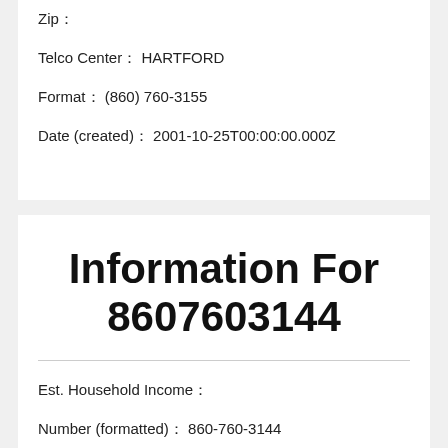Zip:
Telco Center:  HARTFORD
Format:  (860) 760-3155
Date (created):  2001-10-25T00:00:00.000Z
Information For 8607603144
Est. Household Income:
Number (formatted):  860-760-3144